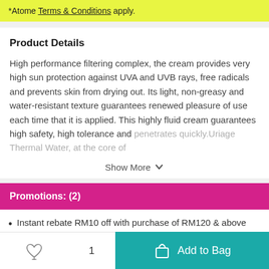*Atome Terms & Conditions apply.
Product Details
High performance filtering complex, the cream provides very high sun protection against UVA and UVB rays, free radicals and prevents skin from drying out. Its light, non-greasy and water-resistant texture guarantees renewed pleasure of use each time that it is applied. This highly fluid cream guarantees high safety, high tolerance and penetrates quickly.Uriage Thermal Water, at the core of
Show More
Promotions: (2)
Instant rebate RM10 off with purchase of RM120 & above
Add to Bag